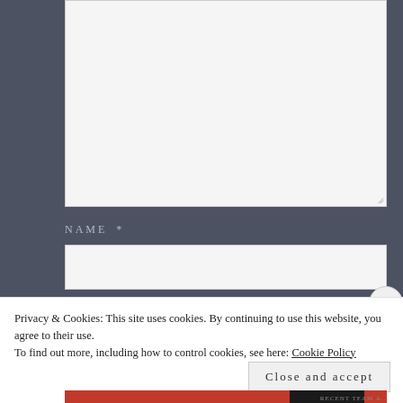[Figure (screenshot): Web form textarea input box, empty, light gray background with resize handle at bottom-right corner]
NAME *
[Figure (screenshot): Web form text input box for Name field, empty, light gray background]
Privacy & Cookies: This site uses cookies. By continuing to use this website, you agree to their use.
To find out more, including how to control cookies, see here: Cookie Policy
Close and accept